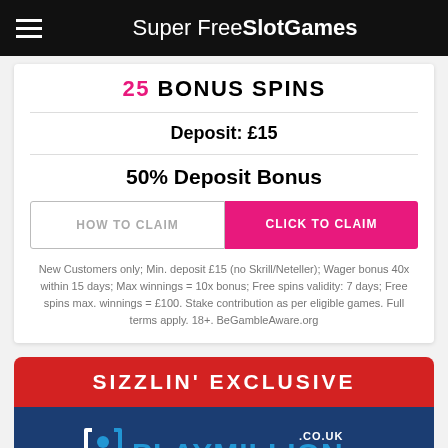SuperFreeSlotGames
25 BONUS SPINS
Deposit: £15
50% Deposit Bonus
HOW TO CLAIM
CLICK TO CLAIM
New Customers only; Min. deposit £15 (no Skrill/Neteller); Wager bonus 40x within 15 days; Max winnings = 10x bonus; Free spins validity: 7 days; Free spins max. winnings = £100. Stake contribution as per eligible games. Full terms apply. 18+. BeGambleAware.org
SIZZLIN' EXCLUSIVE
[Figure (logo): PlayMillion Casino logo on dark blue background with .co.uk domain indicator]